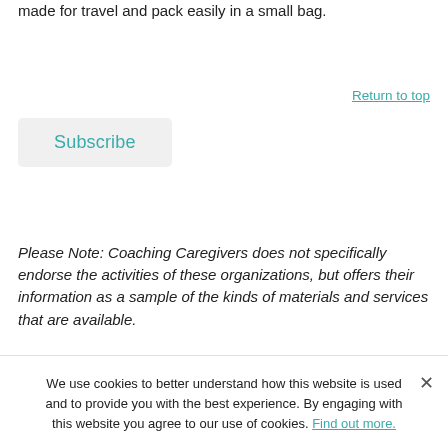made for travel and pack easily in a small bag.
Return to top
Subscribe
Please Note: Coaching Caregivers does not specifically endorse the activities of these organizations, but offers their information as a sample of the kinds of materials and services that are available.
We use cookies to better understand how this website is used and to provide you with the best experience. By engaging with this website you agree to our use of cookies. Find out more.